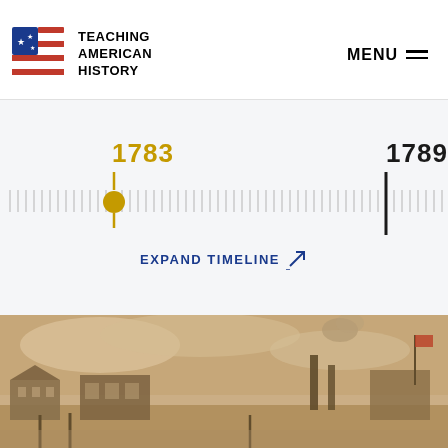TEACHING AMERICAN HISTORY | MENU
[Figure (infographic): Timeline showing years 1783 and 1789 with tick marks, a gold circle marker at 1783 position and a tall black marker at 1789]
EXPAND TIMELINE
[Figure (photo): Sepia-toned historical illustration of an industrial waterfront scene with buildings, smokestacks, and a flag]